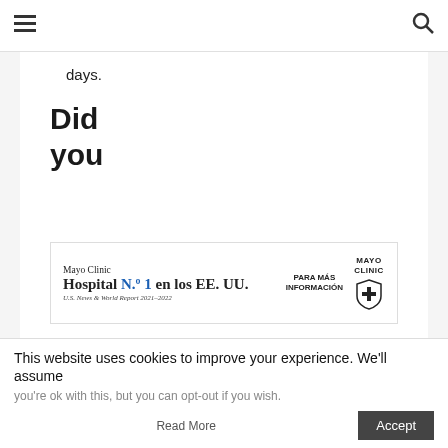≡  🔍
days.
Did
you
[Figure (other): Mayo Clinic advertisement banner: 'Mayo Clinic Hospital N.º 1 en los EE. UU. U.S. News & World Report 2021–2022' with 'PARA MÁS INFORMACIÓN' text and Mayo Clinic shield logo]
This website uses cookies to improve your experience. We'll assume
you're ok with this, but you can opt-out if you wish.
Read More